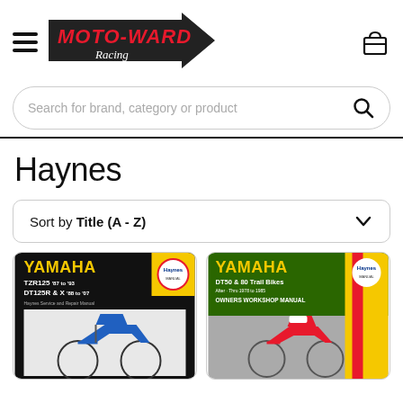[Figure (logo): Moto Ward Racing logo — red bold text on a black arrowhead/banner shape]
Search for brand, category or product
Haynes
Sort by Title (A - Z)
[Figure (photo): Haynes manual cover: Yamaha TZR125 '87 to '93, DT125R & X '88 to '07, Service and Repair Manual. Shows a blue Yamaha dirt bike on white background.]
[Figure (photo): Haynes manual cover: Yamaha DT50 & 80 Trail Bikes Owners Workshop Manual. Shows a red/white Yamaha trail bike on grey background.]